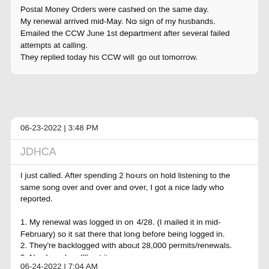Postal Money Orders were cashed on the same day.
My renewal arrived mid-May. No sign of my husbands.
Emailed the CCW June 1st department after several failed attempts at calling.
They replied today his CCW will go out tomorrow.
06-23-2022 | 3:48 PM
JDHCA
I just called. After spending 2 hours on hold listening to the same song over and over and over, I got a nice lady who reported.

1. My renewal was logged in on 4/28. (I mailed it in mid-February) so it sat there that long before being logged in.
2. They're backlogged with about 28,000 permits/renewals.
3. No clue when I'll get it.

Fortunately, I got my Utah permit renewed already, which covers the same states + Washington. I'm not planning on going anyplace where I need it anyway, so I can just wait.
06-24-2022 | 7:04 AM